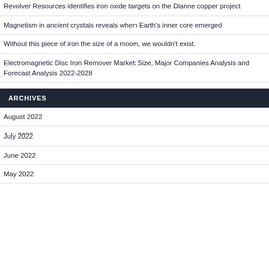Revolver Resources identifies iron oxide targets on the Dianne copper project
Magnetism in ancient crystals reveals when Earth's inner core emerged
Without this piece of iron the size of a moon, we wouldn't exist.
Electromagnetic Disc Iron Remover Market Size, Major Companies Analysis and Forecast Analysis 2022-2028
ARCHIVES
August 2022
July 2022
June 2022
May 2022